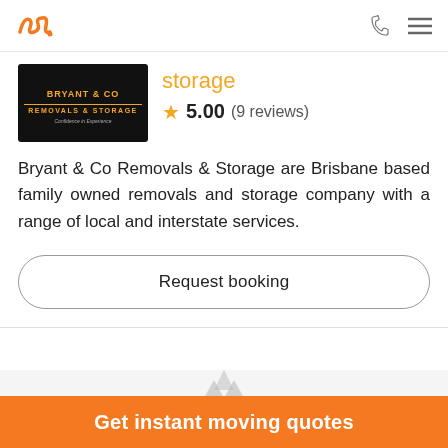Navigation bar with logo, phone icon, and menu icon
[Figure (logo): Bryant & Co Removals & Storage company logo on black background with gold text]
storage
★ 5.00 (9 reviews)
Bryant & Co Removals & Storage are Brisbane based family owned removals and storage company with a range of local and interstate services.
Request booking
Get instant moving quotes